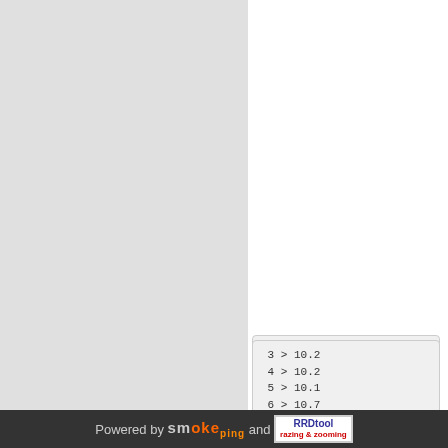[Figure (screenshot): Code/traceroute output box 1 (top right), showing lines 11-14 with line 14 in red. Lines: '11 > ae18', '12 > po15', '13 > 169.', '14 > secd' (red)]
[Figure (screenshot): Code/traceroute output box 2 (middle right), showing lines 3-14 with line 14 in red. Lines: '3 > 10.2', '4 > 10.2', '5 > 10.1', '6 > 10.7', '7 > 10.7', '8 > sin-', '9 > 10.2', '10 > m1-n', '11 > ae18', '12 > po15', '13 > 169.', '14 > qala' (red)]
[Figure (screenshot): Code/traceroute output box 3 (bottom right, partial), showing line: '3 > 10.2']
Powered by smoke ping and RRDtool